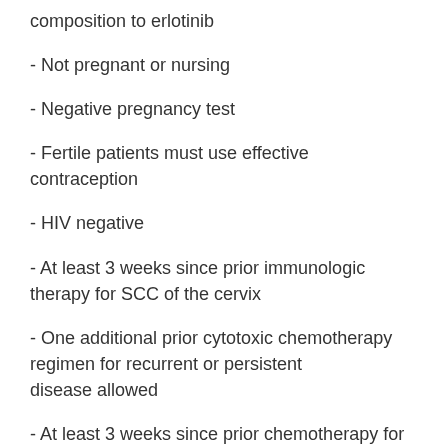composition to erlotinib
- Not pregnant or nursing
- Negative pregnancy test
- Fertile patients must use effective contraception
- HIV negative
- At least 3 weeks since prior immunologic therapy for SCC of the cervix
- One additional prior cytotoxic chemotherapy regimen for recurrent or persistent disease allowed
- At least 3 weeks since prior chemotherapy for SCC of the cervix and recovered
- No prior non-cytotoxic chemotherapy for recurrent or persistent disease